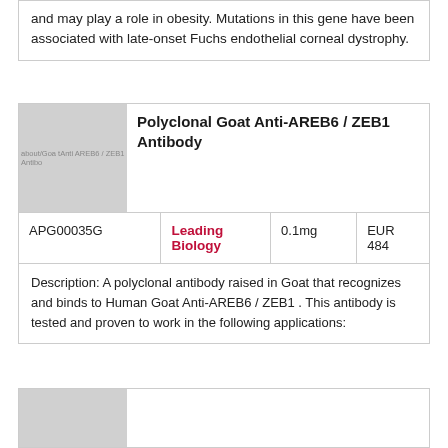and may play a role in obesity. Mutations in this gene have been associated with late-onset Fuchs endothelial corneal dystrophy.
[Figure (photo): Product image placeholder for Polyclonal Goat Anti-AREB6 / ZEB1 Antibody]
Polyclonal Goat Anti-AREB6 / ZEB1 Antibody
| Catalog | Supplier | Amount | Price |
| --- | --- | --- | --- |
| APG00035G | Leading Biology | 0.1mg | EUR 484 |
Description: A polyclonal antibody raised in Goat that recognizes and binds to Human Goat Anti-AREB6 / ZEB1 . This antibody is tested and proven to work in the following applications:
[Figure (photo): Second product image placeholder]